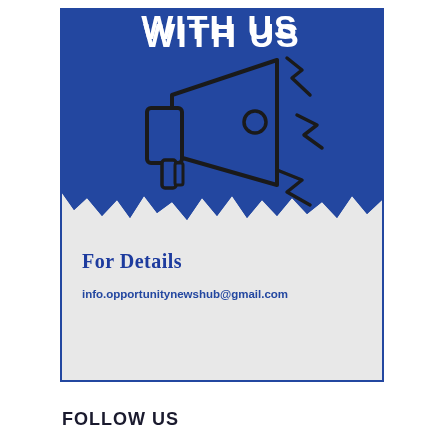[Figure (illustration): Promotional card with blue background, megaphone illustration with lightning bolt lines, torn paper effect, text 'WITH US', 'FOR DETAILS', and email contact info.]
WITH US
For Details
info.opportunitynewshub@gmail.com
FOLLOW US